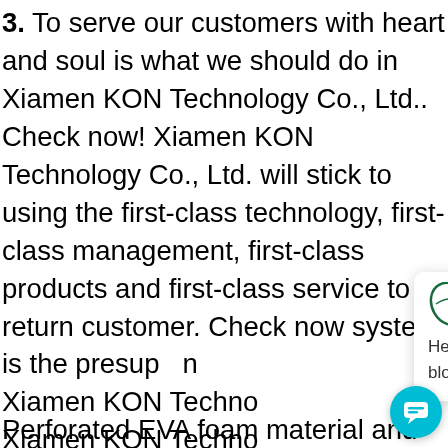3. To serve our customers with heart and soul is what we should do in Xiamen KON Technology Co., Ltd.. Check now! Xiamen KON Technology Co., Ltd. will stick to using the first-class technology, first-class management, first-class products and first-class service to return customer. Check now! system is the presupposition Xiamen KON Technology Xiamen KON Technology service for its costumers. Check now!
Perforated EVA foam material and mesh fa...
[Figure (screenshot): Chat popup with logo of FASTE/leaf icon, close button (x), and message: Hello, We are orthotic insoles & orthopedic shoes , socks & EVA milling blocks supplier, May I know your interested products?]